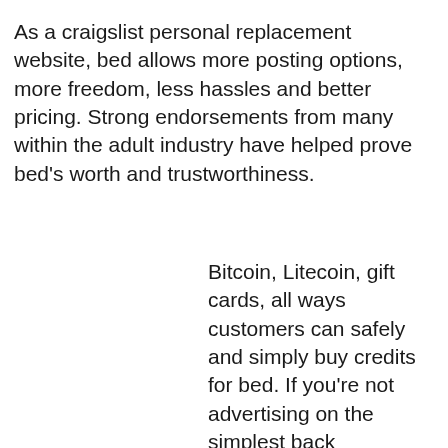As a craigslist personal replacement website, bed allows more posting options, more freedom, less hassles and better pricing. Strong endorsements from many within the adult industry have helped prove bed's worth and trustworthiness.
Bitcoin, Litecoin, gift cards, all ways customers can safely and simply buy credits for bed. If you're not advertising on the simplest back